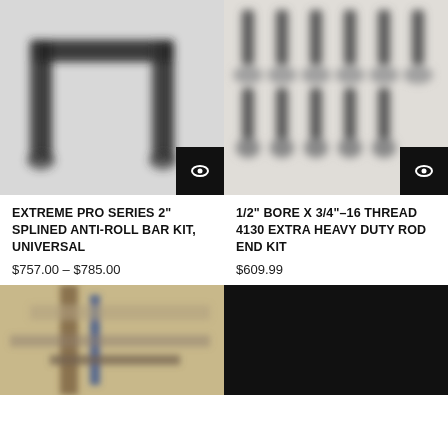[Figure (photo): Blurry photo of a black metal anti-roll bar / sway bar kit with U-shaped bar visible]
[Figure (photo): Blurry photo of multiple rod ends (bolts and spherical bearings) arranged in rows]
EXTREME PRO SERIES 2" SPLINED ANTI-ROLL BAR KIT, UNIVERSAL
$757.00 – $785.00
1/2" BORE X 3/4"-16 THREAD 4130 EXTRA HEAVY DUTY ROD END KIT
$609.99
[Figure (photo): Photo of a metal suspension or roll bar component installed, showing blue and silver metal parts]
[Figure (photo): Dark nearly black product image, showing a dark panel or component]